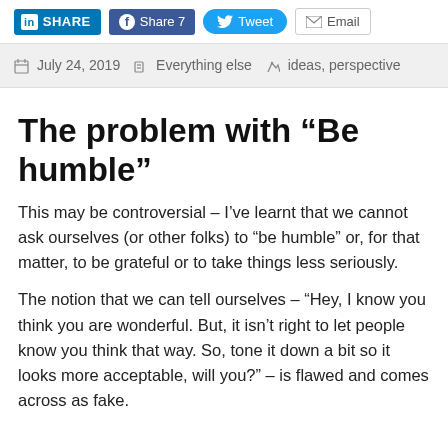in SHARE | f Share 7 | Tweet | Email
July 24, 2019 | Everything else | ideas, perspective
The problem with “Be humble”
This may be controversial – I’ve learnt that we cannot ask ourselves (or other folks) to “be humble” or, for that matter, to be grateful or to take things less seriously.
The notion that we can tell ourselves – “Hey, I know you think you are wonderful. But, it isn’t right to let people know you think that way. So, tone it down a bit so it looks more acceptable, will you?” – is flawed and comes across as fake.